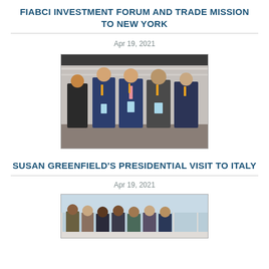FIABCI INVESTMENT FORUM AND TRADE MISSION TO NEW YORK
Apr 19, 2021
[Figure (photo): Group photo of five people standing in formal attire at a conference event, holding glass trophies/awards, in front of a branded backdrop.]
SUSAN GREENFIELD'S PRESIDENTIAL VISIT TO ITALY
Apr 19, 2021
[Figure (photo): Group of people standing together indoors near large windows with a city/outdoor view in the background.]